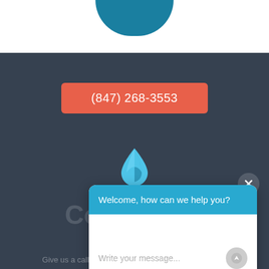[Figure (illustration): Teal semi-circle shape at the top of the dark section, representing the bottom of a logo or icon]
(847) 268-3553
[Figure (illustration): Water drop icon in blue/light blue gradient]
Contact Us
[Figure (screenshot): Chat popup widget with blue header 'Welcome, how can we help you?' and white body with placeholder text 'Write your message...' and a send button]
Give us a call or send an email and we'll connect with